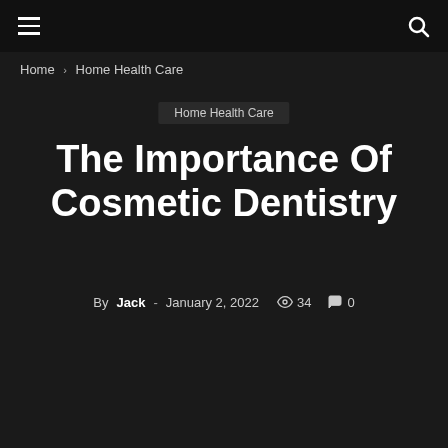Navigation bar with hamburger menu and search icon
Home › Home Health Care
Home Health Care
The Importance Of Cosmetic Dentistry
By Jack - January 2, 2022  34  0